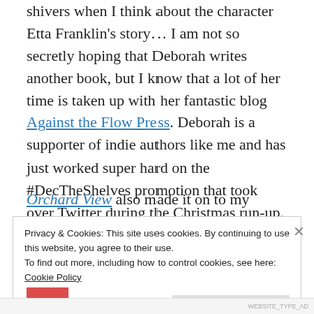shivers when I think about the character Etta Franklin's story… I am not so secretly hoping that Deborah writes another book, but I know that a lot of her time is taken up with her fantastic blog Against the Flow Press. Deborah is a supporter of indie authors like me and has just worked super hard on the #DecTheShelves promotion that took over Twitter during the Christmas run-up.
Orchard View also made it on to my Christmas
Privacy & Cookies: This site uses cookies. By continuing to use this website, you agree to their use.
To find out more, including how to control cookies, see here: Cookie Policy